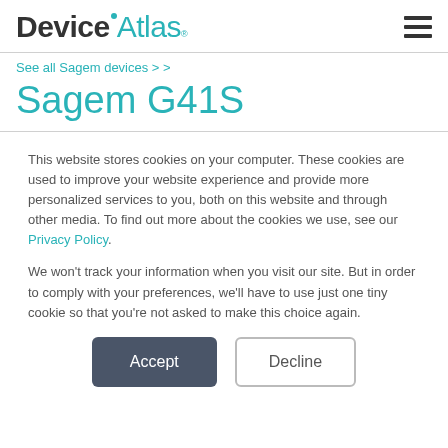[Figure (logo): DeviceAtlas logo with teal dot above the 'i' in Device, and hamburger menu icon on the right]
See all Sagem devices > >
Sagem G41S
This website stores cookies on your computer. These cookies are used to improve your website experience and provide more personalized services to you, both on this website and through other media. To find out more about the cookies we use, see our Privacy Policy.
We won't track your information when you visit our site. But in order to comply with your preferences, we'll have to use just one tiny cookie so that you're not asked to make this choice again.
Accept | Decline